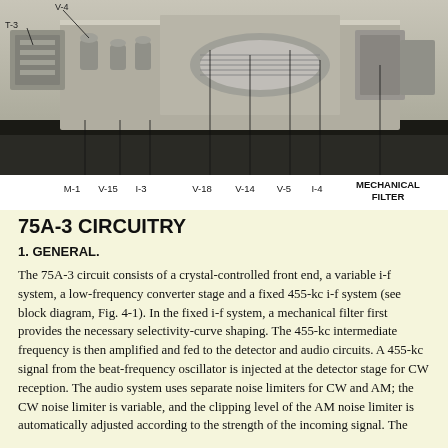[Figure (photo): Black and white photograph of internal electronic equipment (75A-3 receiver chassis) showing vacuum tubes and components labeled V-4, T-3, M-1, V-15, I-3, V-18, V-14, V-5, I-4, and MECHANICAL FILTER with annotation lines pointing to each component.]
M-1   V-15   I-3       V-18   V-14   V-5   I-4   MECHANICAL FILTER
75A-3 CIRCUITRY
1. GENERAL.
The 75A-3 circuit consists of a crystal-controlled front end, a variable i-f system, a low-frequency converter stage and a fixed 455-kc i-f system (see block diagram, Fig. 4-1). In the fixed i-f system, a mechanical filter first provides the necessary selectivity-curve shaping. The 455-kc intermediate frequency is then amplified and fed to the detector and audio circuits. A 455-kc signal from the beat-frequency oscillator is injected at the detector stage for CW reception. The audio system uses separate noise limiters for CW and AM; the CW noise limiter is variable, and the clipping level of the AM noise limiter is automatically adjusted according to the strength of the incoming signal. The